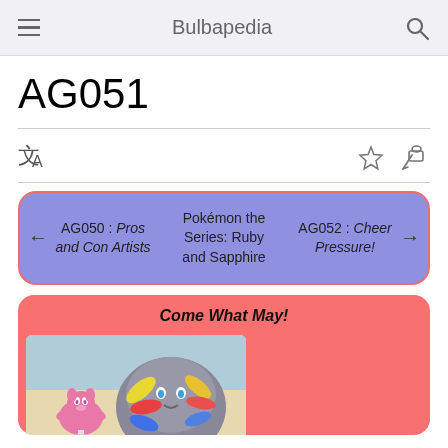Bulbapedia
AG051
[Figure (infographic): Navigation box with previous episode AG050: Pros and Con Artists, center label Pokémon the Series: Ruby and Sapphire, and next episode AG052: Cheer Pressure!]
Come What May!
[Figure (illustration): Anime screenshot showing a pink Spoink and a grey Metagross or similar Pokemon with colorful wing-like features]